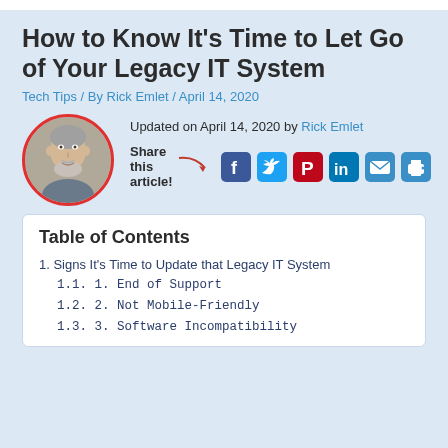How to Know It’s Time to Let Go of Your Legacy IT System
Tech Tips / By Rick Emlet / April 14, 2020
[Figure (photo): Circular portrait photo of Rick Emlet, a middle-aged man with grey hair and beard, framed with a red circle border]
Updated on April 14, 2020 by Rick Emlet
Share this article! [social media icons: Facebook, Twitter, Pinterest, LinkedIn, Email, Print]
Table of Contents
1. Signs It’s Time to Update that Legacy IT System
1.1. 1. End of Support
1.2. 2. Not Mobile-Friendly
1.3. 3. Software Incompatibility